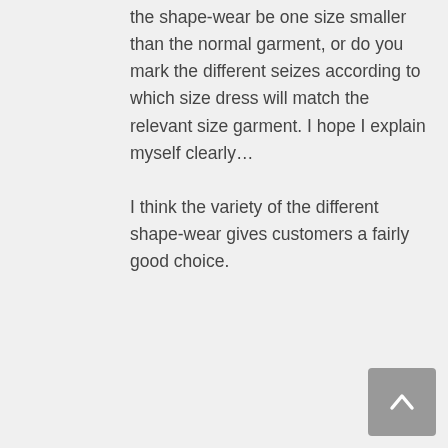the shape-wear be one size smaller than the normal garment, or do you mark the different seizes according to which size dress will match the relevant size garment. I hope I explain myself clearly… I think the variety of the different shape-wear gives customers a fairly good choice.
Reply
Arta
at
Hey Andre